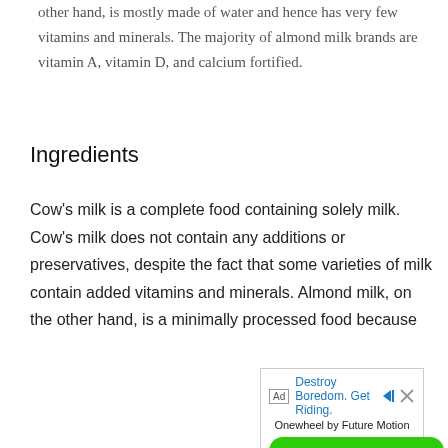other hand, is mostly made of water and hence has very few vitamins and minerals. The majority of almond milk brands are vitamin A, vitamin D, and calcium fortified.
Ingredients
Cow's milk is a complete food containing solely milk. Cow's milk does not contain any additions or preservatives, despite the fact that some varieties of milk contain added vitamins and minerals. Almond milk, on the other hand, is a minimally processed food because
[Figure (other): Advertisement banner for Onewheel by Future Motion with text 'Destroy Boredom. Get Riding.' and a green 'SHOP NOW' button.]